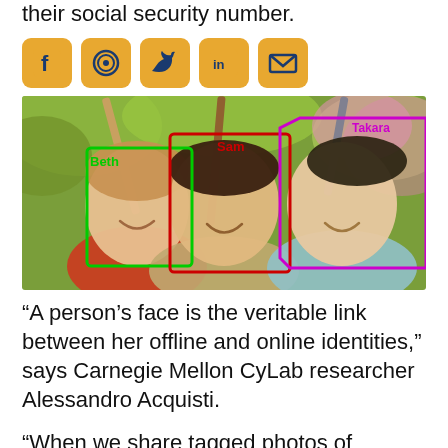their social security number.
[Figure (photo): Photo of three smiling women outdoors holding gardening tools, with facial recognition bounding boxes overlaid: green box labeled 'Beth' on left woman, red box labeled 'Sam' on center woman, magenta box labeled 'Takara' on right woman. Social media sharing icons (Facebook, WhatsApp, Twitter, LinkedIn, Email) in orange boxes appear at top left of the image area.]
“A person’s face is the veritable link between her offline and online identities,” says Carnegie Mellon CyLab researcher Alessandro Acquisti.
“When we share tagged photos of ourselves online, it becomes possible for the outside link